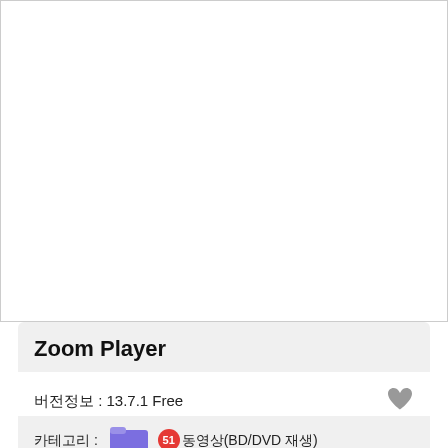[Figure (screenshot): White blank area representing a screenshot/preview region]
Zoom Player
버전정보 : 13.7.1 Free
카테고리 : 동영상(BD/DVD 재생)